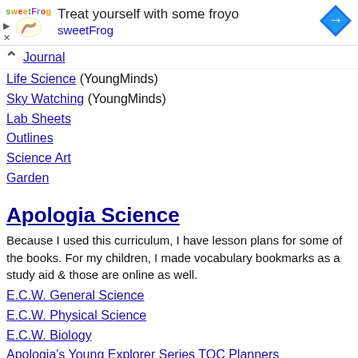[Figure (other): sweetFrog frozen yogurt advertisement banner with logo, text 'Treat yourself with some froyo sweetFrog', and a blue diamond navigation icon]
Journal
Life Science (YoungMinds)
Sky Watching (YoungMinds)
Lab Sheets
Outlines
Science Art
Garden
Apologia Science
Because I used this curriculum, I have lesson plans for some of the books. For my children, I made vocabulary bookmarks as a study aid & those are online as well.
E.C.W. General Science
E.C.W. Physical Science
E.C.W. Biology
Apologia's Young Explorer Series TOC Planners
Donated Co-op Schedules